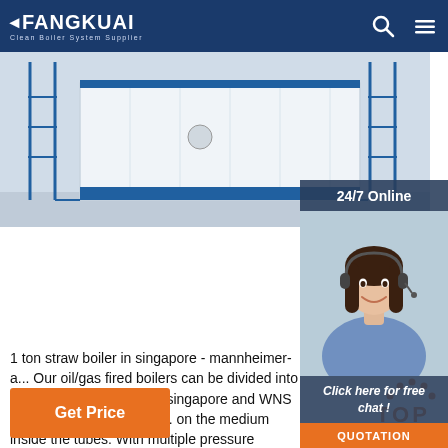FANGKUAI - Clean Boiler System Supplier
[Figure (photo): Industrial boiler unit - white rectangular boiler with blue structural frame and stairs, photographed outdoors]
[Figure (photo): 24/7 Online customer service agent - woman with headset smiling, with 'Click here for free chat!' banner and QUOTATION button]
1 ton straw boiler in singapore - mannheimer-a... Our oil/gas fired boilers can be divided into SZS 1 ton straw boiler in singapore and WNS 1 ton straw boiler in sing... on the medium inside the tubes. With multiple pressure designs, the water tube boilers can meet the steam supply requirements of 2.5MPa or above.
[Figure (other): TOP navigation button with orange dots arc and TOP text in orange]